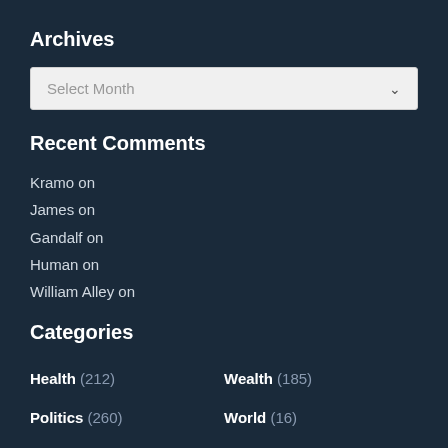Archives
[Figure (other): Select Month dropdown widget with white background and chevron arrow]
Recent Comments
Kramo on
James on
Gandalf on
Human on
William Alley on
Categories
Health (212)
Wealth (185)
Politics (260)
World (16)
Uncategorized (365)